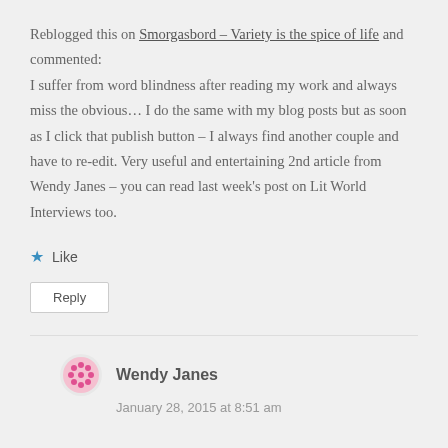Reblogged this on Smorgasbord – Variety is the spice of life and commented: I suffer from word blindness after reading my work and always miss the obvious… I do the same with my blog posts but as soon as I click that publish button – I always find another couple and have to re-edit. Very useful and entertaining 2nd article from Wendy Janes – you can read last week's post on Lit World Interviews too.
Like
Reply
Wendy Janes
January 28, 2015 at 8:51 am